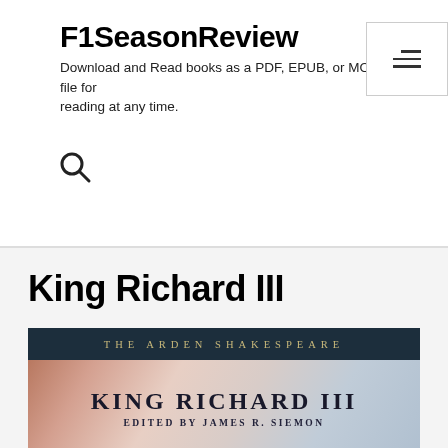F1SeasonReview
Download and Read books as a PDF, EPUB, or MOBI file for reading at any time.
King Richard III
[Figure (illustration): Book cover of 'King Richard III' - The Arden Shakespeare edition, edited by James R. Siemon. Dark blue top band with gold text 'THE ARDEN SHAKESPEARE', main area shows 'KING RICHARD III' in large serif type, 'EDITED BY JAMES R. SIEMON' below, with atmospheric background art.]